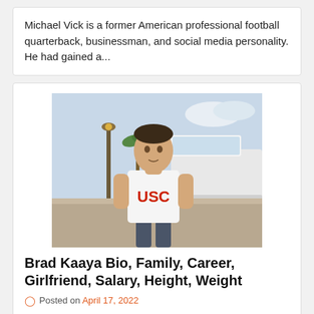Michael Vick is a former American professional football quarterback, businessman, and social media personality. He had gained a...
[Figure (photo): Young athletic man standing outdoors wearing a white USC t-shirt, with a yacht and lamp post in the background.]
Brad Kaaya Bio, Family, Career, Girlfriend, Salary, Height, Weight
Posted on April 17, 2022
Brad Kaaya is a former American